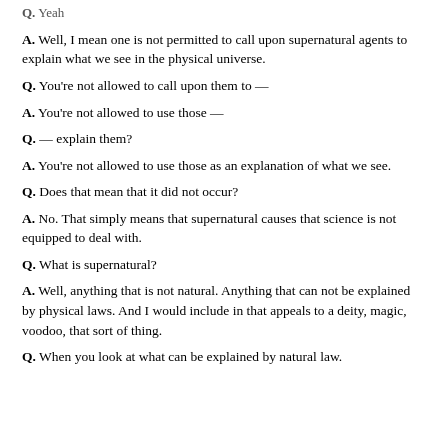Q. Yeah
A. Well, I mean one is not permitted to call upon supernatural agents to explain what we see in the physical universe.
Q. You're not allowed to call upon them to —
A. You're not allowed to use those —
Q. — explain them?
A. You're not allowed to use those as an explanation of what we see.
Q. Does that mean that it did not occur?
A. No. That simply means that supernatural causes that science is not equipped to deal with.
Q. What is supernatural?
A. Well, anything that is not natural. Anything that can not be explained by physical laws. And I would include in that appeals to a deity, magic, voodoo, that sort of thing.
Q. When you look at what can be explained by natural law.